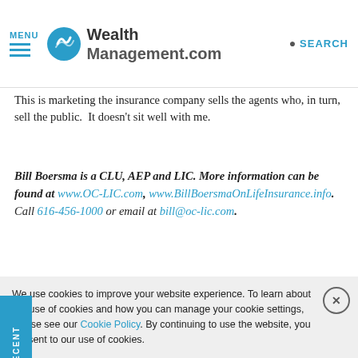MENU | WealthManagement.com | SEARCH
This is marketing the insurance company sells the agents who, in turn, sell the public. It doesn't sit well with me.
Bill Boersma is a CLU, AEP and LIC. More information can be found at www.OC-LIC.com, www.BillBoersmaOnLifeInsurance.info. Call 616-456-1000 or email at bill@oc-lic.com.
TAGS: ESTATE PLANNING | HIGH NET WORTH
We use cookies to improve your website experience. To learn about our use of cookies and how you can manage your cookie settings, please see our Cookie Policy. By continuing to use the website, you consent to our use of cookies.